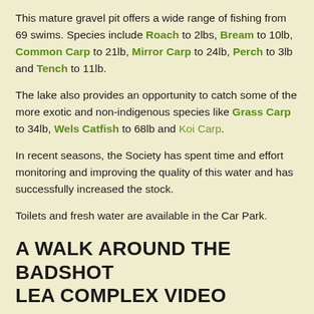This mature gravel pit offers a wide range of fishing from 69 swims. Species include Roach to 2lbs, Bream to 10lb, Common Carp to 21lb, Mirror Carp to 24lb, Perch to 3lb and Tench to 11lb.
The lake also provides an opportunity to catch some of the more exotic and non-indigenous species like Grass Carp to 34lb, Wels Catfish to 68lb and Koi Carp.
In recent seasons, the Society has spent time and effort monitoring and improving the quality of this water and has successfully increased the stock.
Toilets and fresh water are available in the Car Park.
A WALK AROUND THE BADSHOT LEA COMPLEX VIDEO
Click through the image to to view the video that takes